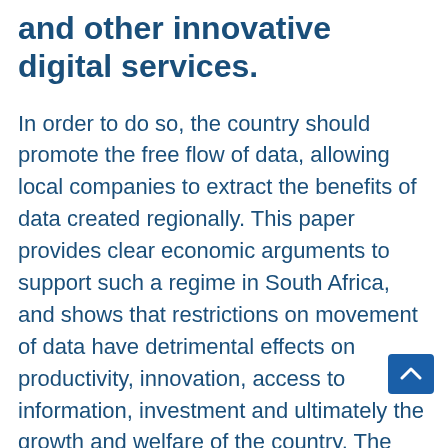and other innovative digital services.
In order to do so, the country should promote the free flow of data, allowing local companies to extract the benefits of data created regionally. This paper provides clear economic arguments to support such a regime in South Africa, and shows that restrictions on movement of data have detrimental effects on productivity, innovation, access to information, investment and ultimately the growth and welfare of the country. The introduction of this paper looks at the importance of data in today's digital economy, while section two introduces the issue of restrictions to data flows, and clarifies the current state of p when it comes to such restrictions, both globally and